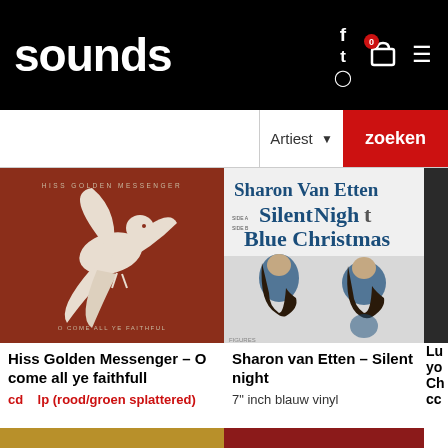sounds
[Figure (screenshot): Search bar with Artiest dropdown and zoeken button]
[Figure (photo): Album cover: Hiss Golden Messenger - O Come All Ye Faithful, dark red background with white dove silhouette]
Hiss Golden Messenger - O come all ye faithfull
cd   lp (rood/groen splattered)
[Figure (photo): Album cover: Sharon Van Etten - Silent Night / Blue Christmas, blue and white illustration of two women]
Sharon van Etten - Silent night
7" inch blauw vinyl
[Figure (photo): Partial album cover visible at right edge]
[Figure (photo): Partial album covers visible at bottom]
Lu... yo... Ch... cc...